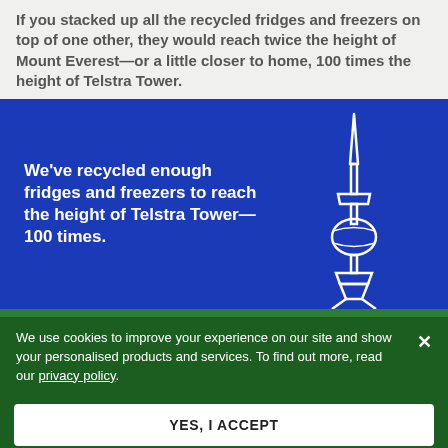If you stacked up all the recycled fridges and freezers on top of one other, they would reach twice the height of Mount Everest—or a little closer to home, 100 times the height of Telstra Tower.
[Figure (illustration): Blue banner with bold white text reading 'We've recycled enough fridges and freezers to reach the height of Telstra Tower—100 times.' with a white outline illustration of the Telstra Tower on the right side.]
We use cookies to improve your experience on our site and show your personalised products and services. To find out more, read our privacy policy.
YES, I ACCEPT